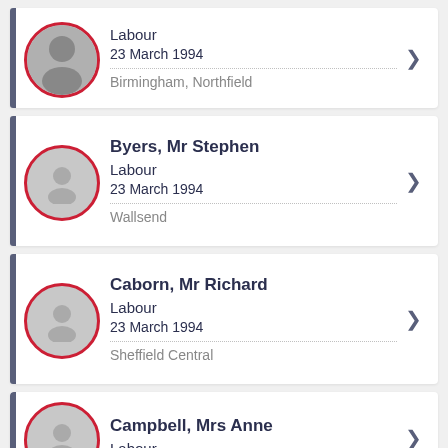Labour | 23 March 1994 | Birmingham, Northfield
Byers, Mr Stephen | Labour | 23 March 1994 | Wallsend
Caborn, Mr Richard | Labour | 23 March 1994 | Sheffield Central
Campbell, Mrs Anne | Labour